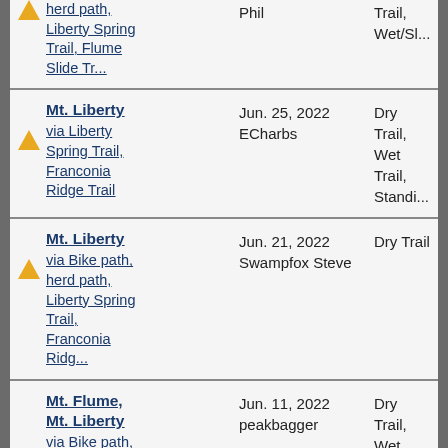herd path, Liberty Spring Trail, Flume Slide Tr... | Phil | Trail, Wet/Sl...
Mt. Liberty via Liberty Spring Trail, Franconia Ridge Trail | Jun. 25, 2022 ECharbs | Dry Trail, Wet Trail, Standi...
Mt. Liberty via Bike path, herd path, Liberty Spring Trail, Franconia Ridg... | Jun. 21, 2022 Swampfox Steve | Dry Trail
Mt. Flume, Mt. Liberty via Bike path, Liberty Spring Trail, Flume... | Jun. 11, 2022 peakbagger | Dry Trail, Wet Trail, Wet/Sl...